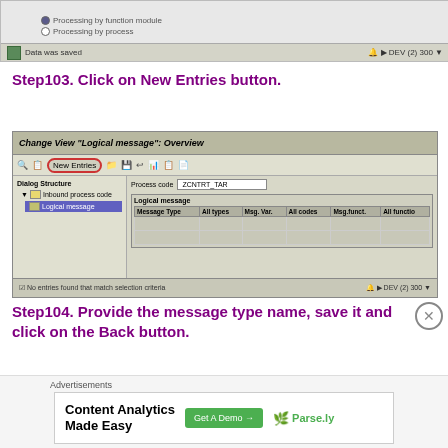[Figure (screenshot): SAP application screenshot showing top portion with radio buttons for Processing by function module and Processing by process, with Data was saved status bar]
Step103. Click on New Entries button.
[Figure (screenshot): SAP Change View Logical message Overview screen with New Entries button highlighted in red circle, Dialog Structure panel showing Inbound process code and Logical message, Process code ZCNTRT_TAR, and Logical message table with Message Type, All types, Msg. Var., All codes, Msg.funct., All function columns. Bottom bar shows No entries found that match selection criteria.]
Step104. Provide the message type name, save it and click on the Back button.
Advertisements
[Figure (screenshot): Advertisement banner: Content Analytics Made Easy - Get A Demo button - Parse.ly logo]